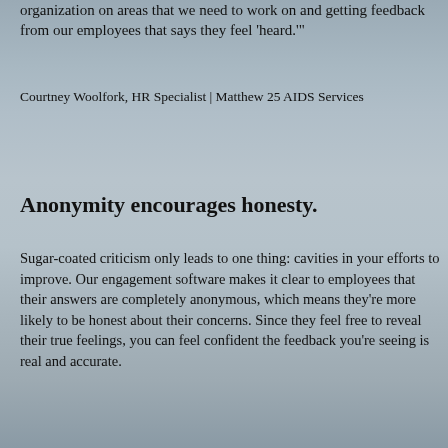organization on areas that we need to work on and getting feedback from our employees that says they feel 'heard.'"
Courtney Woolfork, HR Specialist | Matthew 25 AIDS Services
[Figure (photo): Blurred background photo of a man with glasses and hands raised together, viewed through a window with vertical bars]
Anonymity encourages honesty.
Sugar-coated criticism only leads to one thing: cavities in your efforts to improve. Our engagement software makes it clear to employees that their answers are completely anonymous, which means they're more likely to be honest about their concerns. Since they feel free to reveal their true feelings, you can feel confident the feedback you're seeing is real and accurate.